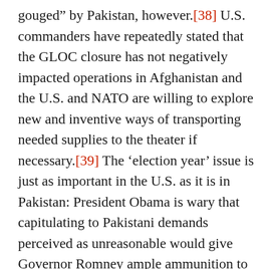gouged” by Pakistan, however.[38] U.S. commanders have repeatedly stated that the GLOC closure has not negatively impacted operations in Afghanistan and the U.S. and NATO are willing to explore new and inventive ways of transporting needed supplies to the theater if necessary.[39] The ‘election year’ issue is just as important in the U.S. as it is in Pakistan: President Obama is wary that capitulating to Pakistani demands perceived as unreasonable would give Governor Romney ample ammunition to use against him. Lastly, given growing U.S. frustrations with Pakistan since 2011, the U.S. appears willing to absorb a significant